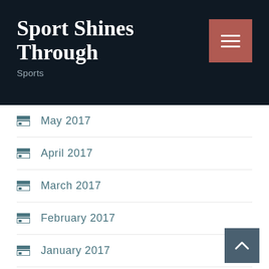Sport Shines Through
Sports
May 2017
April 2017
March 2017
February 2017
January 2017
Categories
Badminton